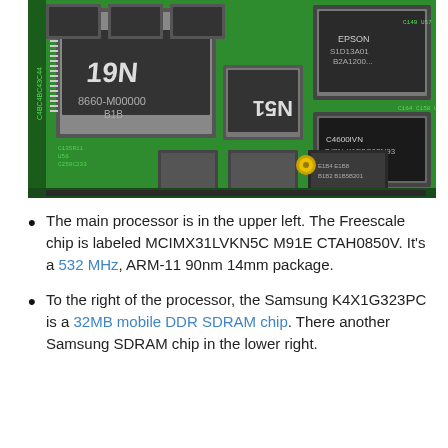[Figure (photo): Close-up photograph of a green printed circuit board (PCB) showing multiple IC chips including the Freescale MCIMX31LVKN5C processor (upper left), Samsung K4X1G323PC DDR SDRAM chips, an Epson chip, and various other components, capacitors, and resistors on the board.]
The main processor is in the upper left. The Freescale chip is labeled MCIMX31LVKN5C M91E CTAH0850V. It's a 532 MHz, ARM-11 90nm 14mm package.
To the right of the processor, the Samsung K4X1G323PC is a 32MB mobile DDR SDRAM chip. There another Samsung SDRAM chip in the lower right.